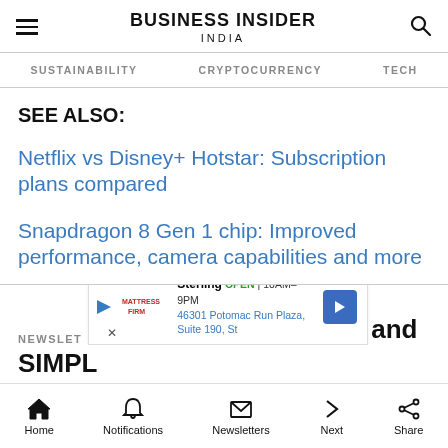BUSINESS INSIDER INDIA
SUSTAINABILITY  CRYPTOCURRENCY  TECH
SEE ALSO:
Netflix vs Disney+ Hotstar: Subscription plans compared
Snapdragon 8 Gen 1 chip: Improved performance, camera capabilities and more
NEWSLET
SIMPL
Home  Notifications  Newsletters  Next  Share